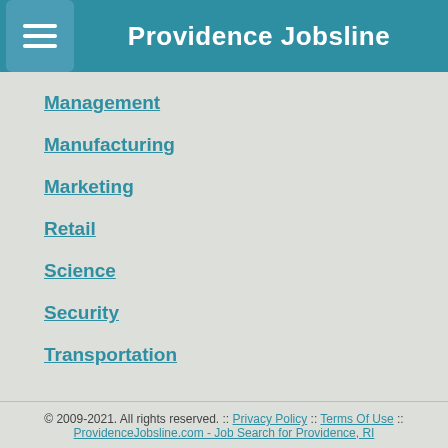Providence Jobsline
Management
Manufacturing
Marketing
Retail
Science
Security
Transportation
© 2009-2021. All rights reserved. :: Privacy Policy :: Terms Of Use :: ProvidenceJobsline.com - Job Search for Providence, RI